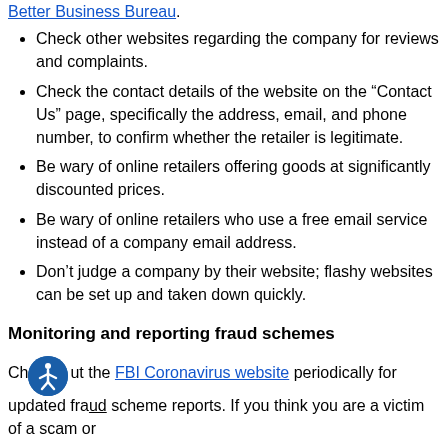Better Business Bureau.
Check other websites regarding the company for reviews and complaints.
Check the contact details of the website on the “Contact Us” page, specifically the address, email, and phone number, to confirm whether the retailer is legitimate.
Be wary of online retailers offering goods at significantly discounted prices.
Be wary of online retailers who use a free email service instead of a company email address.
Don’t judge a company by their website; flashy websites can be set up and taken down quickly.
Monitoring and reporting fraud schemes
Check out the FBI Coronavirus website periodically for updated fraud scheme reports. If you think you are a victim of a scam or